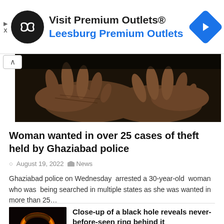[Figure (illustration): Advertisement banner: Visit Premium Outlets® with Leesburg Premium Outlets text, black circular logo with infinity-like symbol, blue diamond navigation icon on right, play and close icons on left]
[Figure (photo): Close-up photograph of open hands held up, dark background]
Woman wanted in over 25 cases of theft held by Ghaziabad police
August 19, 2022  News
Ghaziabad police on Wednesday  arrested a 30-year-old  woman who was  being searched in multiple states as she was wanted in more than 25…
[Figure (photo): Black hole image showing orange/red glow ring against dark background]
Close-up of a black hole reveals never-before-seen ring behind it
August 18, 2022  News